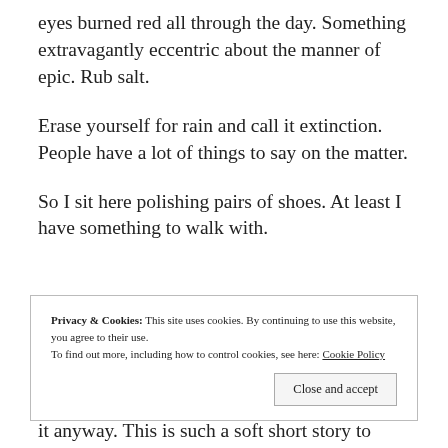eyes burned red all through the day. Something extravagantly eccentric about the manner of epic. Rub salt.
Erase yourself for rain and call it extinction. People have a lot of things to say on the matter.
So I sit here polishing pairs of shoes. At least I have something to walk with.
Privacy & Cookies: This site uses cookies. By continuing to use this website, you agree to their use.
To find out more, including how to control cookies, see here: Cookie Policy
it anyway. This is such a soft short story to write in the